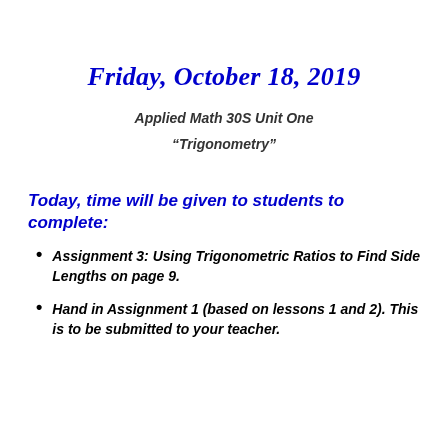Friday, October 18, 2019
Applied Math 30S Unit One
“Trigonometry”
Today, time will be given to students to complete:
Assignment 3: Using Trigonometric Ratios to Find Side Lengths on page 9.
Hand in Assignment 1 (based on lessons 1 and 2). This is to be submitted to your teacher.